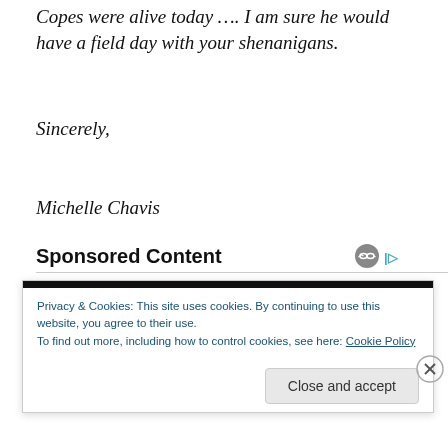Copes were alive today …. I am sure he would have a field day with your shenanigans.
Sincerely,
Michelle Chavis
Sponsored Content
Privacy & Cookies: This site uses cookies. By continuing to use this website, you agree to their use.
To find out more, including how to control cookies, see here: Cookie Policy
Close and accept